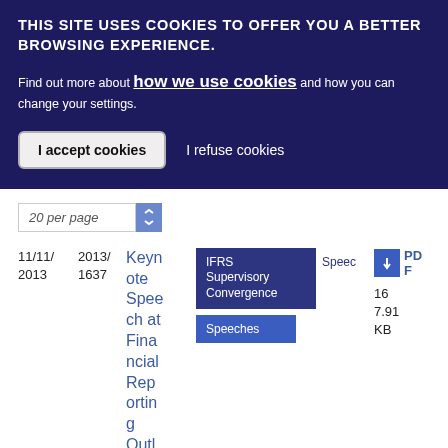THIS SITE USES COOKIES TO OFFER YOU A BETTER BROWSING EXPERIENCE.
Find out more about how we use cookies and how you can change your settings.
I accept cookies | I refuse cookies
20 per page
11/11/2013 | 2013/1637 | Keynote Speech at Financial Reporting Outl
IFRS Supervisory Convergence | Speeches
PDF | 16 | 7.91 KB